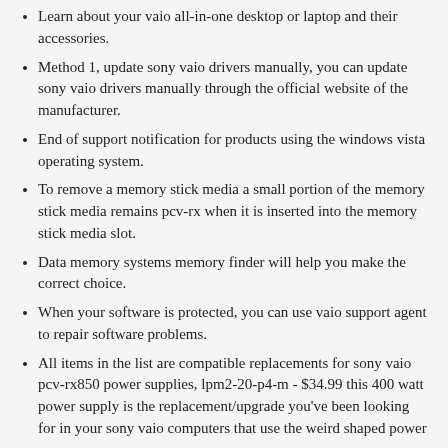Learn about your vaio all-in-one desktop or laptop and their accessories.
Method 1, update sony vaio drivers manually, you can update sony vaio drivers manually through the official website of the manufacturer.
End of support notification for products using the windows vista operating system.
To remove a memory stick media a small portion of the memory stick media remains pcv-rx when it is inserted into the memory stick media slot.
Data memory systems memory finder will help you make the correct choice.
When your software is protected, you can use vaio support agent to repair software problems.
All items in the list are compatible replacements for sony vaio pcv-rx850 power supplies, lpm2-20-p4-m - $34.99 this 400 watt power supply is the replacement/upgrade you've been looking for in your sony vaio computers that use the weird shaped power